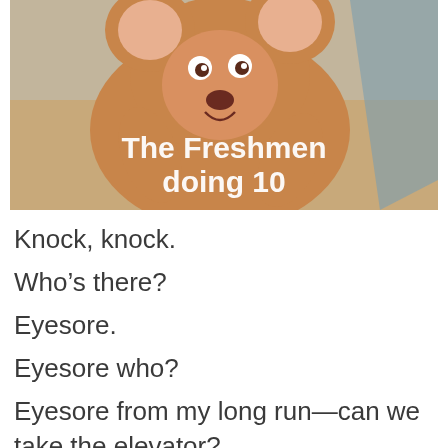[Figure (illustration): A cartoon image of Jerry the mouse from Tom and Jerry, looking cheerful and animated. White overlay text reads 'The Freshmen doing 10'.]
Knock, knock.
Who’s there?
Eyesore.
Eyesore who?
Eyesore from my long run—can we take the elevator?